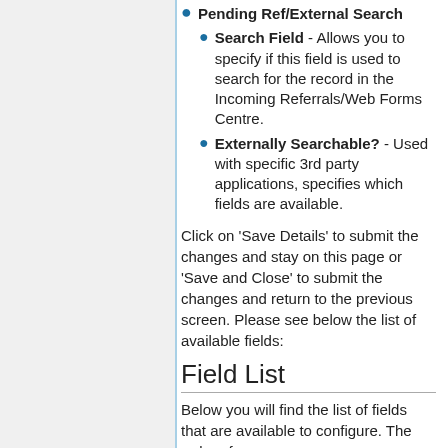Pending Ref/External Search
Search Field - Allows you to specify if this field is used to search for the record in the Incoming Referrals/Web Forms Centre.
Externally Searchable? - Used with specific 3rd party applications, specifies which fields are available.
Click on 'Save Details' to submit the changes and stay on this page or 'Save and Close' to submit the changes and return to the previous screen. Please see below the list of available fields:
Field List
Below you will find the list of fields that are available to configure. The order of